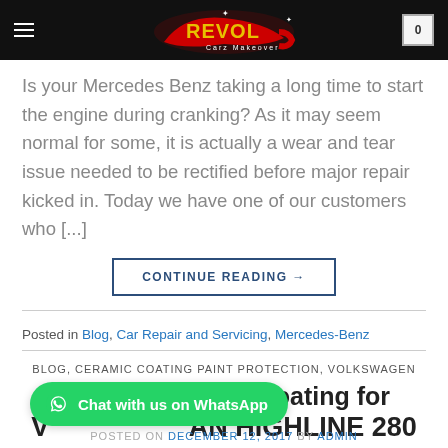[Figure (logo): Revol Carz Makeover logo in red and gold on black navigation bar with hamburger menu and cart icon showing 0]
Is your Mercedes Benz taking a long time to start the engine during cranking? As it may seem normal for some, it is actually a wear and tear issue needed to be rectified before major repair kicked in. Today we have one of our customers who [...]
CONTINUE READING →
Posted in Blog, Car Repair and Servicing, Mercedes-Benz
BLOG, CERAMIC COATING PAINT PROTECTION, VOLKSWAGEN
Paint Protection Coating for VOLKSWAGEN HIGHLINE 280
POSTED ON DECEMBER 12, 2017 BY ADMIN
[Figure (other): WhatsApp chat button in green]